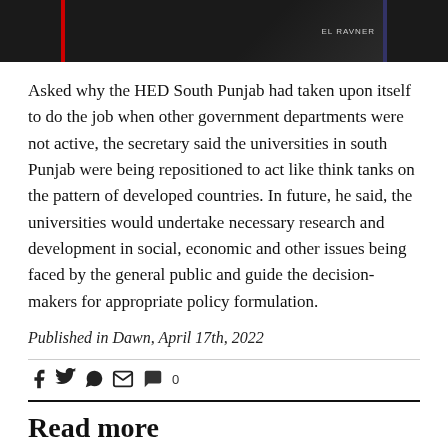[Figure (photo): Top portion of a book or object with red and blue elements visible against a dark background, partially cropped]
Asked why the HED South Punjab had taken upon itself to do the job when other government departments were not active, the secretary said the universities in south Punjab were being repositioned to act like think tanks on the pattern of developed countries. In future, he said, the universities would undertake necessary research and development in social, economic and other issues being faced by the general public and guide the decision-makers for appropriate policy formulation.
Published in Dawn, April 17th, 2022
[Figure (other): Social media sharing icons: Facebook, Twitter, WhatsApp, Email, Comment (with count 0)]
Read more